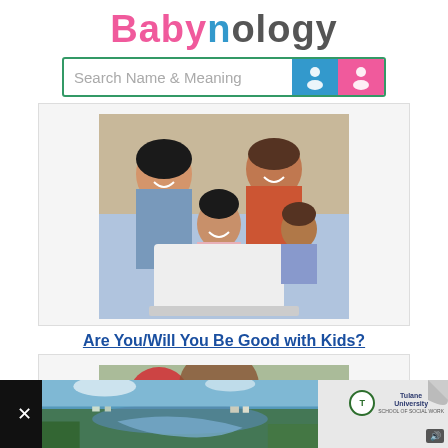Babynology
[Figure (screenshot): Search bar with text 'Search Name & Meaning' and blue/pink gender icon buttons]
[Figure (photo): A smiling family (woman, man, and two children) looking at a laptop together]
Are You/Will You Be Good with Kids?
[Figure (photo): Partially visible photo of a child with colorful elements at the bottom of the page]
[Figure (screenshot): Ad banner at bottom: close button, aerial landscape photo, Tulane University School of Social Work ad with 'TAP TO EXPLORE' button and sound icon]